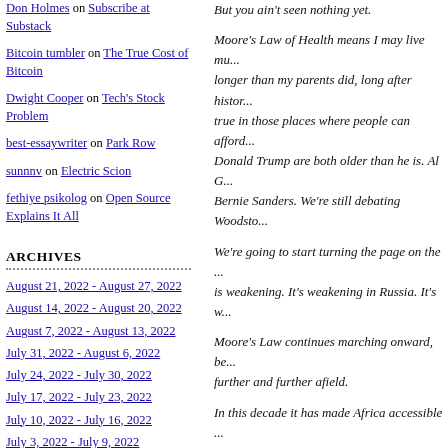Don Holmes on Subscribe at Substack
Bitcoin tumbler on The True Cost of Bitcoin
Dwight Cooper on Tech's Stock Problem
best-essaywriter on Park Row
sunnnv on Electric Scion
fethiye psikolog on Open Source Explains It All
ARCHIVES
August 21, 2022 - August 27, 2022
August 14, 2022 - August 20, 2022
August 7, 2022 - August 13, 2022
July 31, 2022 - August 6, 2022
July 24, 2022 - July 30, 2022
July 17, 2022 - July 23, 2022
July 10, 2022 - July 16, 2022
July 3, 2022 - July 9, 2022
But you ain't seen nothing yet.
Moore's Law of Health means I may live much longer than my parents did, long after history proves true in those places where people can afford it. Donald Trump are both older than he is. Al G... Bernie Sanders. We're still debating Woodsto...
We're going to start turning the page on the ... is weakening. It's weakening in Russia. It's w...
Moore's Law continues marching onward, be... further and further afield.
In this decade it has made Africa accessible ... China an economic power. Over 1 billion pe... century – they have homes, some material co...
What might the next decade bring? If I make... may be my last shot at predicting the future.
But here goes.
The 2020s: The End of Oil
The end of oil is in sight. It's going to be a bumpy ride.